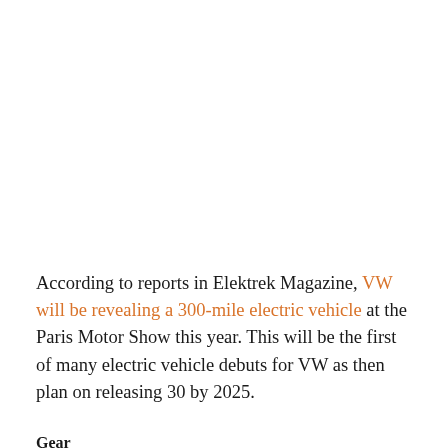According to reports in Elektrek Magazine, VW will be revealing a 300-mile electric vehicle at the Paris Motor Show this year. This will be the first of many electric vehicle debuts for VW as then plan on releasing 30 by 2025.
Gear